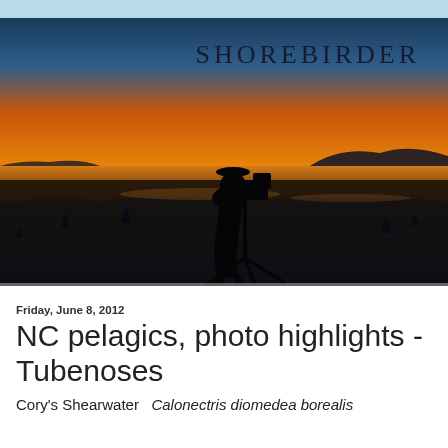[Figure (photo): Silhouette of a photographer on a tripod against a vivid orange and yellow sunset sky, with snow-covered ground and distant hills in the background. Blog header photo for Shorebirder.]
SHOREBIRDER
Friday, June 8, 2012
NC pelagics, photo highlights - Tubenoses
Cory's Shearwater   Calonectris diomedea borealis